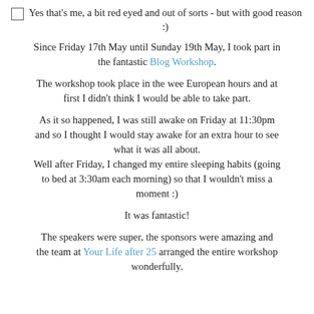Yes that's me, a bit red eyed and out of sorts - but with good reason :)
Since Friday 17th May until Sunday 19th May, I took part in the fantastic Blog Workshop.
The workshop took place in the wee European hours and at first I didn't think I would be able to take part.
As it so happened, I was still awake on Friday at 11:30pm and so I thought I would stay awake for an extra hour to see what it was all about.
Well after Friday, I changed my entire sleeping habits (going to bed at 3:30am each morning) so that I wouldn't miss a moment :)
It was fantastic!
The speakers were super, the sponsors were amazing and the team at Your Life after 25 arranged the entire workshop wonderfully.